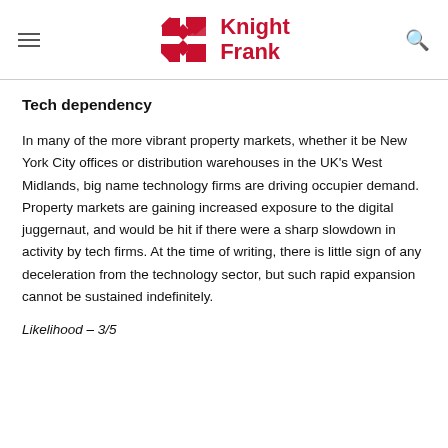Knight Frank
Tech dependency
In many of the more vibrant property markets, whether it be New York City offices or distribution warehouses in the UK's West Midlands, big name technology firms are driving occupier demand. Property markets are gaining increased exposure to the digital juggernaut, and would be hit if there were a sharp slowdown in activity by tech firms. At the time of writing, there is little sign of any deceleration from the technology sector, but such rapid expansion cannot be sustained indefinitely.
Likelihood – 3/5